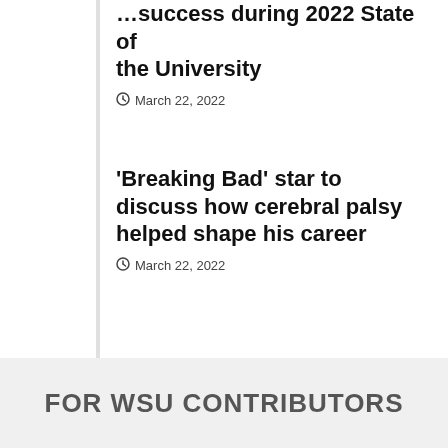...success during 2022 State of the University
March 22, 2022
'Breaking Bad' star to discuss how cerebral palsy helped shape his career
March 22, 2022
FOR WSU CONTRIBUTORS